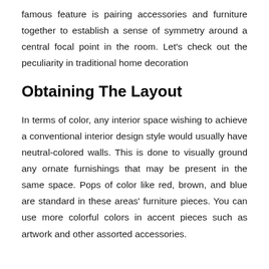famous feature is pairing accessories and furniture together to establish a sense of symmetry around a central focal point in the room. Let's check out the peculiarity in traditional home decoration
Obtaining The Layout
In terms of color, any interior space wishing to achieve a conventional interior design style would usually have neutral-colored walls. This is done to visually ground any ornate furnishings that may be present in the same space. Pops of color like red, brown, and blue are standard in these areas' furniture pieces. You can use more colorful colors in accent pieces such as artwork and other assorted accessories.